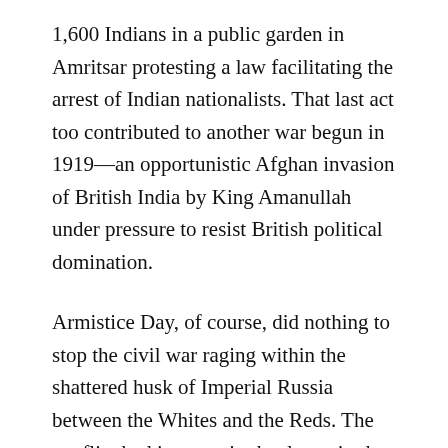1,600 Indians in a public garden in Amritsar protesting a law facilitating the arrest of Indian nationalists. That last act too contributed to another war begun in 1919—an opportunistic Afghan invasion of British India by King Amanullah under pressure to resist British political domination.
Armistice Day, of course, did nothing to stop the civil war raging within the shattered husk of Imperial Russia between the Whites and the Reds. The conflict had its roots in the decrepitude of Tsarist rule and the rise of international socialist ideology prior to World